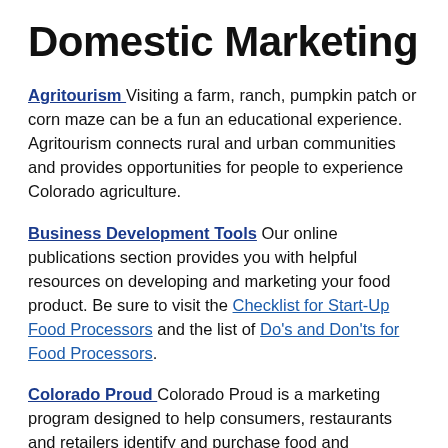Domestic Marketing
Agritourism Visiting a farm, ranch, pumpkin patch or corn maze can be a fun an educational experience. Agritourism connects rural and urban communities and provides opportunities for people to experience Colorado agriculture.
Business Development Tools Our online publications section provides you with helpful resources on developing and marketing your food product. Be sure to visit the Checklist for Start-Up Food Processors and the list of Do's and Don'ts for Food Processors.
Colorado Proud Colorado Proud is a marketing program designed to help consumers, restaurants and retailers identify and purchase food and agricultural products that are grown, raised or